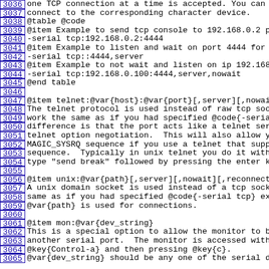3036: one TCP connection at a time is accepted. You can u
3037: connect to the corresponding character device.
3038: @table @code
3039: @item Example to send tcp console to 192.168.0.2 po
3040: -serial tcp:192.168.0.2:4444
3041: @item Example to listen and wait on port 4444 for c
3042: -serial tcp::4444,server
3043: @item Example to not wait and listen on ip 192.168.
3044: -serial tcp:192.168.0.100:4444,server,nowait
3045: @end table
3046: (blank)
3047: @item telnet:@var{host}:@var{port}[,server][,nowait
3048: The telnet protocol is used instead of raw tcp sock
3049: work the same as if you had specified @code{-serial
3050: difference is that the port acts like a telnet serv
3051: telnet option negotiation.  This will also allow yo
3052: MAGIC_SYSRQ sequence if you use a telnet that suppo
3053: sequence.  Typically in unix telnet you do it with
3054: type "send break" followed by pressing the enter ke
3055: (blank)
3056: @item unix:@var{path}[,server][,nowait][,reconnect=
3057: A unix domain socket is used instead of a tcp socke
3058: same as if you had specified @code{-serial tcp} exc
3059: @var{path} is used for connections.
3060: (blank)
3061: @item mon:@var{dev_string}
3062: This is a special option to allow the monitor to be
3063: another serial port.  The monitor is accessed with
3064: @key{Control-a} and then pressing @key{c}.
3065: @var{dev_string} should be any one of the serial de